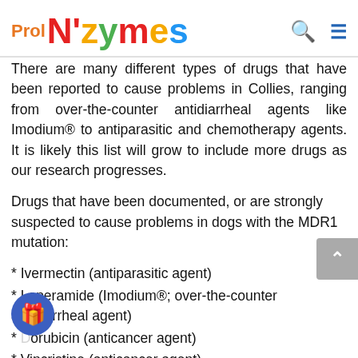Prol N'zymes
There are many different types of drugs that have been reported to cause problems in Collies, ranging from over-the-counter antidiarrheal agents like Imodium® to antiparasitic and chemotherapy agents. It is likely this list will grow to include more drugs as our research progresses.
Drugs that have been documented, or are strongly suspected to cause problems in dogs with the MDR1 mutation:
* Ivermectin (antiparasitic agent)
* Loperamide (Imodium®; over-the-counter antidiarrheal agent)
* Doxorubicin (anticancer agent)
* Vincristine (anticancer agent)